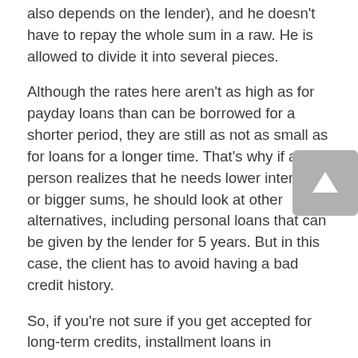also depends on the lender), and he doesn't have to repay the whole sum in a raw. He is allowed to divide it into several pieces.
Although the rates here aren't as high as for payday loans than can be borrowed for a shorter period, they are still as not as small as for loans for a longer time. That's why if a person realizes that he needs lower interests or bigger sums, he should look at other alternatives, including personal loans that can be given by the lender for 5 years. But in this case, the client has to avoid having a bad credit history.
So, if you're not sure if you get accepted for long-term credits, installment loans in Shelbyville for bad credit will be the best option among alternatives with no credit check. Nonetheless, if you have found out that a particular organization guarantees that it won't check this information at all, it's recommended not cooperating with this lender. It's under the law to give these permissions to